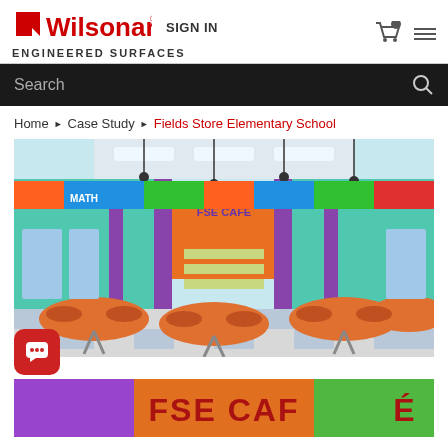[Figure (logo): Wilsonart Engineered Surfaces logo with red flag icon]
SIGN IN
Search
Home ▶ Case Study ▶ Fields Store Elementary School
[Figure (photo): Interior of Fields Store Elementary School cafeteria (FSE Café) with colorful walls, orange round tables, and a checkered floor]
[Figure (photo): Close-up of FSE CAFÉ sign on colorful wall]